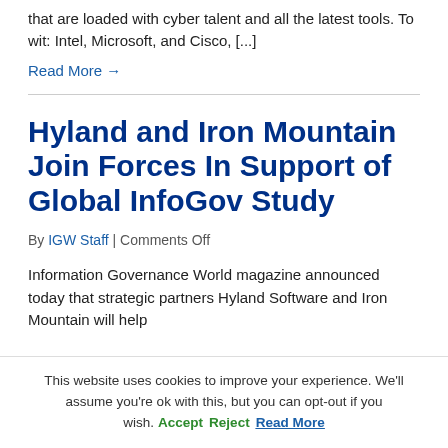that are loaded with cyber talent and all the latest tools. To wit: Intel, Microsoft, and Cisco, [...]
Read More →
Hyland and Iron Mountain Join Forces In Support of Global InfoGov Study
By IGW Staff | Comments Off
Information Governance World magazine announced today that strategic partners Hyland Software and Iron Mountain will help
This website uses cookies to improve your experience. We'll assume you're ok with this, but you can opt-out if you wish. Accept Reject Read More